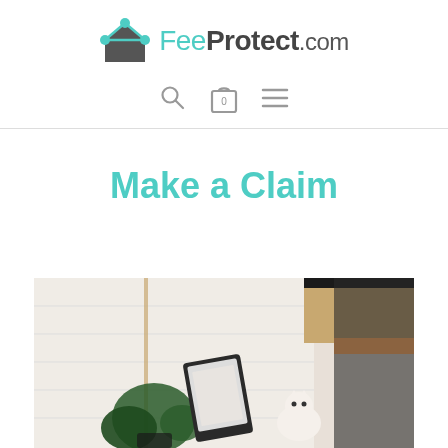[Figure (logo): FeeProtect.com logo with teal house/network icon and bold text]
[Figure (screenshot): Navigation bar with search magnifying glass icon, shopping bag icon with 0, and hamburger menu icon]
Make a Claim
[Figure (photo): Interior scene on a desk with a tablet, green plant, and decorative cat figure against a white brick wall background]